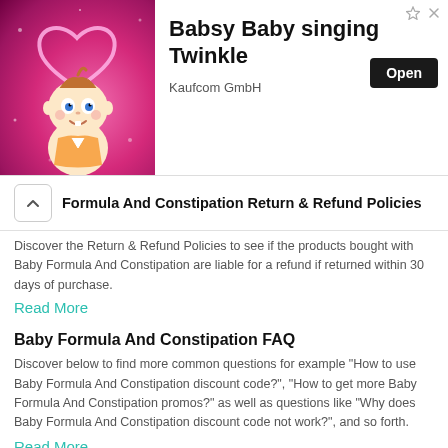[Figure (illustration): Advertisement banner for Babsy Baby singing Twinkle app by Kaufcom GmbH, showing cartoon baby with heart halo on pink background, with Open button and app title.]
Formula And Constipation Return & Refund Policies
Discover the Return & Refund Policies to see if the products bought with Baby Formula And Constipation are liable for a refund if returned within 30 days of purchase.
Read More
Baby Formula And Constipation FAQ
Discover below to find more common questions for example "How to use Baby Formula And Constipation discount code?", "How to get more Baby Formula And Constipation promos?" as well as questions like "Why does Baby Formula And Constipation discount code not work?", and so forth.
Read More
How To Use Baby Formula And Constipation Discount Codes